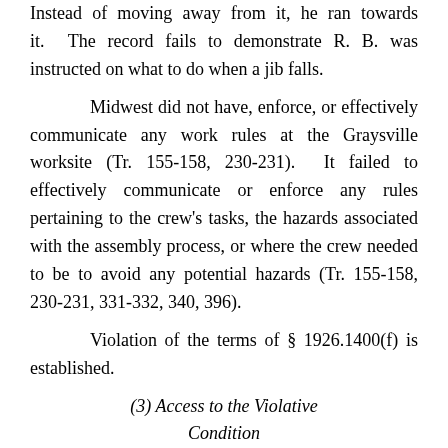Instead of moving away from it, he ran towards it. The record fails to demonstrate R. B. was instructed on what to do when a jib falls.
Midwest did not have, enforce, or effectively communicate any work rules at the Graysville worksite (Tr. 155-158, 230-231). It failed to effectively communicate or enforce any rules pertaining to the crew's tasks, the hazards associated with the assembly process, or where the crew needed to be to avoid any potential hazards (Tr. 155-158, 230-231, 331-332, 340, 396).
Violation of the terms of § 1926.1400(f) is established.
(3) Access to the Violative Condition
Midwest's employee, R. B., was directly exposed to a hazardous